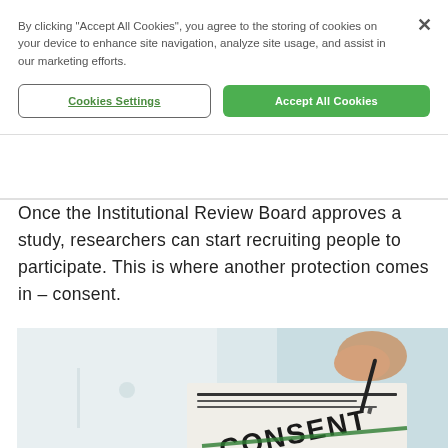By clicking “Accept All Cookies”, you agree to the storing of cookies on your device to enhance site navigation, analyze site usage, and assist in our marketing efforts.
Cookies Settings
Accept All Cookies
Once the Institutional Review Board approves a study, researchers can start recruiting people to participate. This is where another protection comes in – consent.
[Figure (photo): A person in a white coat signing or reviewing a consent form with text 'CONSENT' visible on the document.]